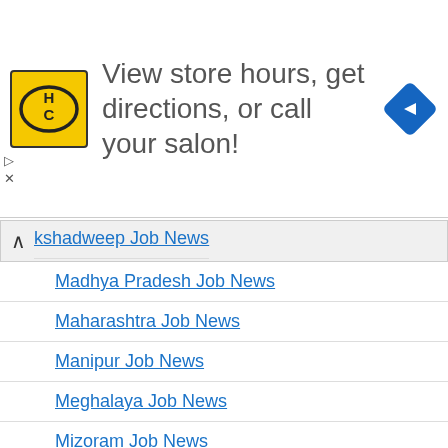[Figure (screenshot): Advertisement banner with HC logo and text 'View store hours, get directions, or call your salon!' with navigation arrow icon]
Lakshadweep Job News
Madhya Pradesh Job News
Maharashtra Job News
Manipur Job News
Meghalaya Job News
Mizoram Job News
Nagaland Job News
Odisha Job News